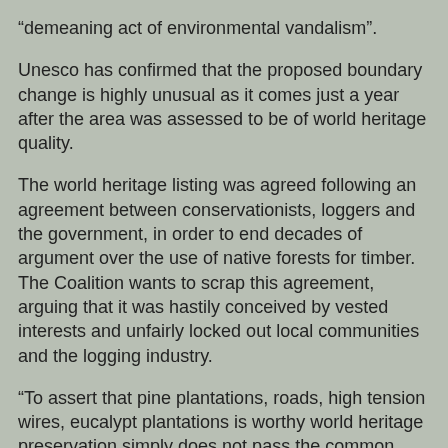“demeaning act of environmental vandalism”.
Unesco has confirmed that the proposed boundary change is highly unusual as it comes just a year after the area was assessed to be of world heritage quality.
The world heritage listing was agreed following an agreement between conservationists, loggers and the government, in order to end decades of argument over the use of native forests for timber. The Coalition wants to scrap this agreement, arguing that it was hastily conceived by vested interests and unfairly locked out local communities and the logging industry.
“To assert that pine plantations, roads, high tension wires, eucalypt plantations is worthy world heritage preservation simply does not pass the common sense test,” Liberal senator Eric Abetz told Seven’s Sunrise show on Saturday.
Peter Campbell at 3:46 pm
Share